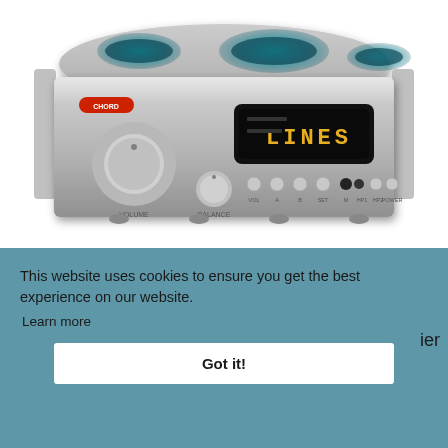[Figure (photo): Silver hi-fi audio amplifier/preamplifier unit with brushed aluminum finish, large volume knob on left, balance knob, various control buttons, a digital display showing 'LINES', and cyan/teal illuminated rings on top. Brand logo visible on front panel.]
This website uses cookies to ensure you get the best experience on our website.
Learn more
Got it!
ier